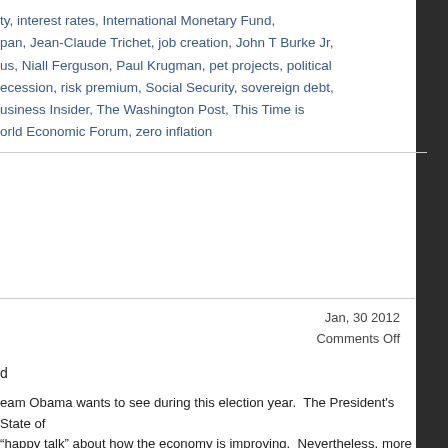ty, interest rates, International Monetary Fund, pan, Jean-Claude Trichet, job creation, John T Burke Jr, us, Niall Ferguson, Paul Krugman, pet projects, political ecession, risk premium, Social Security, sovereign debt, usiness Insider, The Washington Post, This Time is orld Economic Forum, zero inflation
Jan, 30 2012
Comments Off
d
eam Obama wants to see during this election year.  The President's State of happy talk" about how the economy is improving.  Nevertheless, more than eir concerns that we might be headed back into another period of at least six
h Institute (ECRI) predicted that the United States would fall back into weekly leading index has been showing small increments of improvement, sibility of a relapse.  Take a look at the chart which accompanied the f The Wall Street Journal.  Here are some of Mr. Gongloff's observations:
n a bit, to 122.8 from 123.3 the week before, but that's still among the